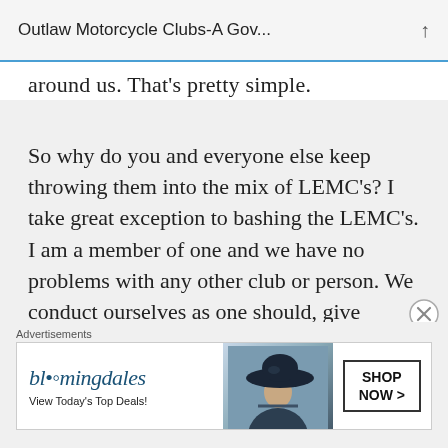Outlaw Motorcycle Clubs-A Gov...
around us. That's pretty simple.
So why do you and everyone else keep throwing them into the mix of LEMC's? I take great exception to bashing the LEMC's. I am a member of one and we have no problems with any other club or person. We conduct ourselves as one should, give respect get respect. We don't go looking for trouble but we do go out looking to enjoy the ride as a
Advertisements
[Figure (screenshot): Bloomingdale's advertisement banner with logo, 'View Today's Top Deals!' text, woman with hat image, and 'SHOP NOW >' button]